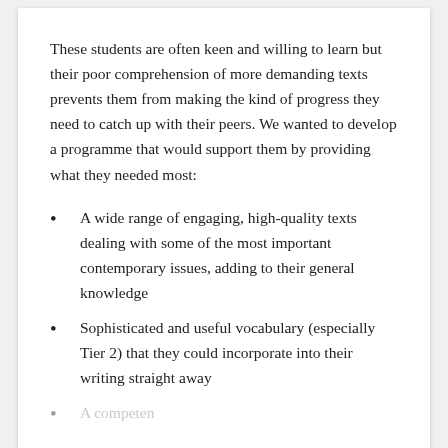These students are often keen and willing to learn but their poor comprehension of more demanding texts prevents them from making the kind of progress they need to catch up with their peers. We wanted to develop a programme that would support them by providing what they needed most:
A wide range of engaging, high-quality texts dealing with some of the most important contemporary issues, adding to their general knowledge
Sophisticated and useful vocabulary (especially Tier 2) that they could incorporate into their writing straight away